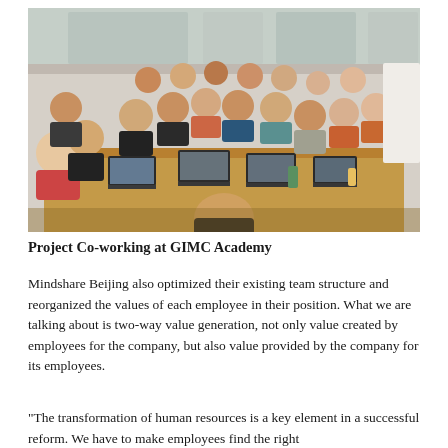[Figure (photo): Group of people sitting around a long conference table with laptops, working together in a meeting room at GIMC Academy. Many participants visible, both men and women, in a bright office environment.]
Project Co-working at GIMC Academy
Mindshare Beijing also optimized their existing team structure and reorganized the values of each employee in their position. What we are talking about is two-way value generation, not only value created by employees for the company, but also value provided by the company for its employees.
“The transformation of human resources is a key element in a successful reform. We have to make employees find the right